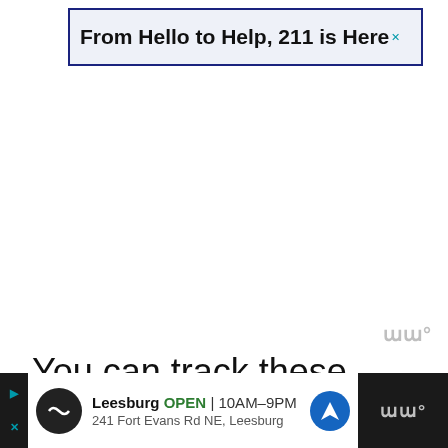[Figure (screenshot): Advertisement banner reading 'From Hello to Help, 211 is Here' with a blue border and close button (X) in top right corner]
You can track these stages through your Ancestry account. The display will look something like this (or it will
[Figure (screenshot): Bottom advertisement bar for a store in Leesburg showing OPEN 10AM-9PM, address 241 Fort Evans Rd NE, Leesburg, with navigation icon]